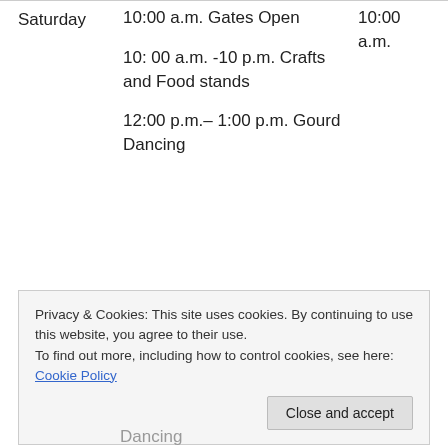| Day | Events | Time |
| --- | --- | --- |
| Saturday | 10:00 a.m. Gates Open | 10:00 a.m. |
|  | 10: 00 a.m. -10 p.m. Crafts and Food stands |  |
|  | 12:00 p.m.– 1:00 p.m. Gourd Dancing |  |
|  | 1:00 p.m. Grand Entry |  |
Privacy & Cookies: This site uses cookies. By continuing to use this website, you agree to their use.
To find out more, including how to control cookies, see here: Cookie Policy
Close and accept